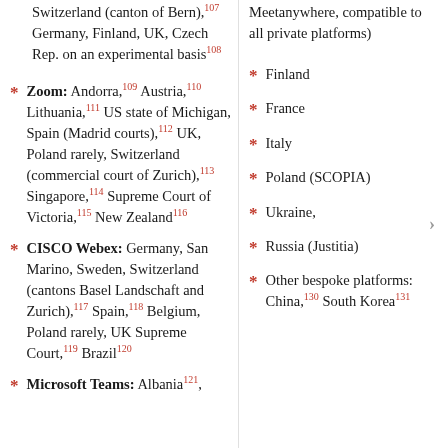Switzerland (canton of Bern),107 Germany, Finland, UK, Czech Rep. on an experimental basis108
Zoom: Andorra,109 Austria,110 Lithuania,111 US state of Michigan, Spain (Madrid courts),112 UK, Poland rarely, Switzerland (commercial court of Zurich),113 Singapore,114 Supreme Court of Victoria,115 New Zealand116
CISCO Webex: Germany, San Marino, Sweden, Switzerland (cantons Basel Landschaft and Zurich),117 Spain,118 Belgium, Poland rarely, UK Supreme Court,119 Brazil120
Microsoft Teams: Albania,121
Meetanywhere, compatible to all private platforms)
Finland
France
Italy
Poland (SCOPIA)
Ukraine,
Russia (Justitia)
Other bespoke platforms: China,130 South Korea131